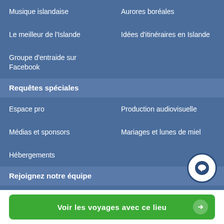Musique islandaise
Aurores boréales
Le meilleur de l'Islande
Idées d'itinéraires en Islande
Groupe d'entraide sur Facebook
Requêtes spéciales
Espace pro
Production audiovisuelle
Médias et sponsors
Mariages et lunes de miel
Hébergements
Rejoignez notre équipe
Rejoindre la communauté d'habitants en Islande
Créer son blog de voyage Guide to Iceland
Voir les voyages avec ce lieu →